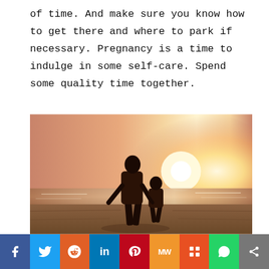of time. And make sure you know how to get there and where to park if necessary. Pregnancy is a time to indulge in some self-care. Spend some quality time together.
[Figure (photo): Silhouette of an adult and a small child walking hand-in-hand on a beach at sunset, with warm orange and golden light glowing from behind them and ocean waves visible in the background.]